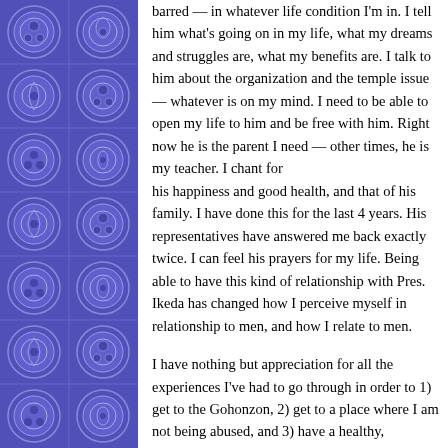[Figure (illustration): Decorative left border with repeating blue/purple medallion tiles arranged in two columns, featuring circular ornamental patterns on a deep blue-purple background.]
barred — in whatever life condition I'm in. I tell him what's going on in my life, what my dreams and struggles are, what my benefits are. I talk to him about the organization and the temple issue — whatever is on my mind. I need to be able to open my life to him and be free with him. Right now he is the parent I need — other times, he is my teacher. I chant for his happiness and good health, and that of his family. I have done this for the last 4 years. His representatives have answered me back exactly twice. I can feel his prayers for my life. Being able to have this kind of relationship with Pres. Ikeda has changed how I perceive myself in relationship to men, and how I relate to men.

I have nothing but appreciation for all the experiences I've had to go through in order to 1) get to the Gohonzon, 2) get to a place where I am not being abused, and 3) have a healthy, supportive relationship in my life.